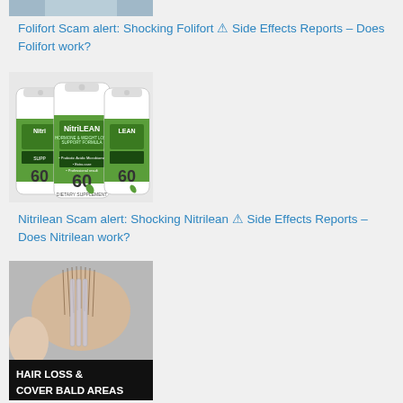[Figure (photo): Partial image of a person (cropped, top of page)]
Folifort Scam alert: Shocking Folifort ⚠️ Side Effects Reports – Does Folifort work?
[Figure (photo): Three white and green NitriLEAN supplement bottles labeled '60']
Nitrilean Scam alert: Shocking Nitrilean ⚠️ Side Effects Reports – Does Nitrilean work?
[Figure (photo): Image showing hair loss with text overlay 'HAIR LOSS & COVER BALD AREAS']